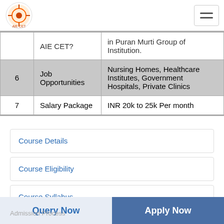AIE CET logo and navigation
| # | Category | Details |
| --- | --- | --- |
|  | AIE CET? | in Puran Murti Group of Institution. |
| 6 | Job Opportunities | Nursing Homes, Healthcare Institutes, Government Hospitals, Private Clinics |
| 7 | Salary Package | INR 20k to 25k Per month |
Course Details
Course Eligibility
Course Syllabus
Career Opportunity
Course Fees
Query Now    Apply Now    Admission Process